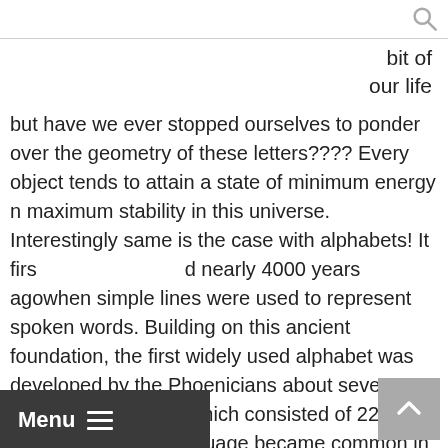🔍
bit of
our life
but have we ever stopped ourselves to ponder over the geometry of these letters???? Every object tends to attain a state of minimum energy n maximum stability in this universe. Interestingly same is the case with alphabets! It first appeared nearly 4000 years agowhen simple lines were used to represent spoken words. Building on this ancient foundation, the first widely used alphabet was developed by the Phoenicians about seven hundred years later which consisted of 22 consonants. This language became common in the Mediterranean, including in the Levant, the Iberian Peninsula, North Africa and southern Europe. The Greeks added vowels to Phoenician alphabets sometime around 750 BC. Considered the first true alphabet, it was later appropriated by the Latins (later to become the Romans) who combined it with notable